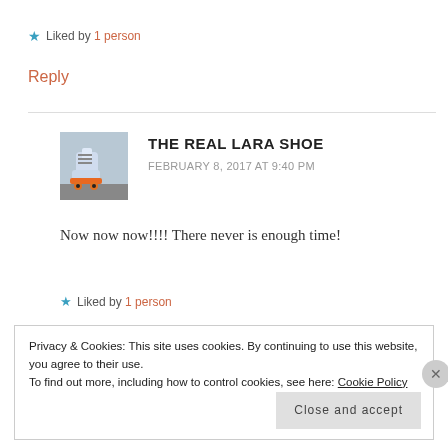★ Liked by 1 person
Reply
[Figure (photo): Roller skate avatar photo for The Real Lara Shoe]
THE REAL LARA SHOE
FEBRUARY 8, 2017 AT 9:40 PM
Now now now!!!! There never is enough time!
★ Liked by 1 person
Privacy & Cookies: This site uses cookies. By continuing to use this website, you agree to their use. To find out more, including how to control cookies, see here: Cookie Policy
Close and accept